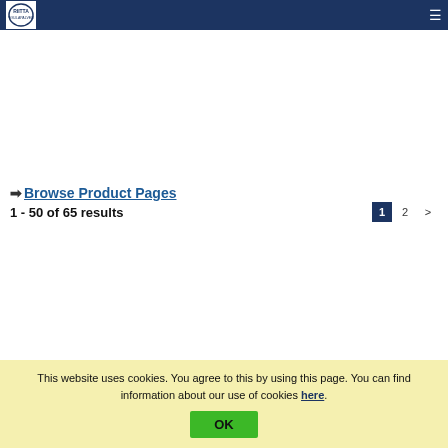RIITTA [logo] ≡
➡ Browse Product Pages
1 - 50 of 65 results  1  2  >
This website uses cookies. You agree to this by using this page. You can find information about our use of cookies here.
OK